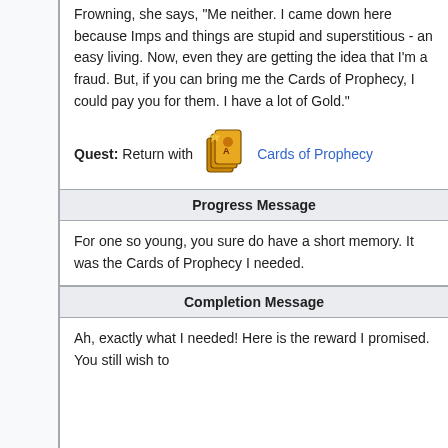Frowning, she says, "Me neither. I came down here because Imps and things are stupid and superstitious - an easy living. Now, even they are getting the idea that I'm a fraud. But, if you can bring me the Cards of Prophecy, I could pay you for them. I have a lot of Gold."
Quest: Return with Cards of Prophecy
Progress Message
For one so young, you sure do have a short memory. It was the Cards of Prophecy I needed.
Completion Message
Ah, exactly what I needed! Here is the reward I promised. You still wish to